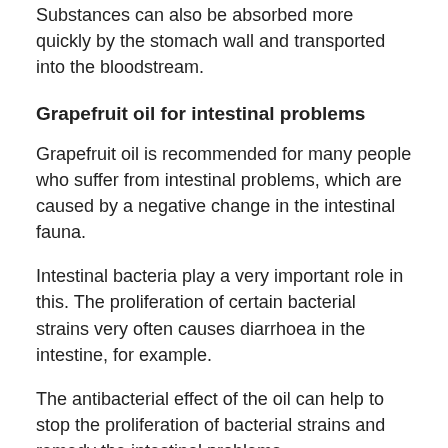Substances can also be absorbed more quickly by the stomach wall and transported into the bloodstream.
Grapefruit oil for intestinal problems
Grapefruit oil is recommended for many people who suffer from intestinal problems, which are caused by a negative change in the intestinal fauna.
Intestinal bacteria play a very important role in this. The proliferation of certain bacterial strains very often causes diarrhoea in the intestine, for example.
The antibacterial effect of the oil can help to stop the proliferation of bacterial strains and remedy the intestinal problems.